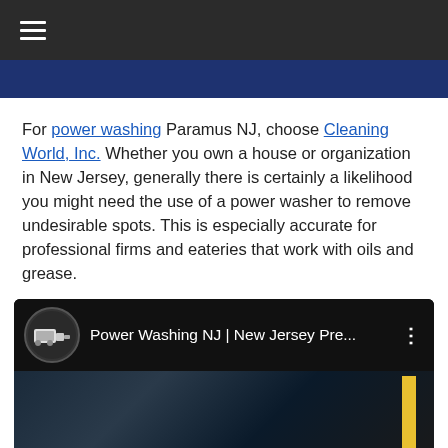≡ (hamburger menu navigation bar)
For power washing Paramus NJ, choose Cleaning World, Inc. Whether you own a house or organization in New Jersey, generally there is certainly a likelihood you might need the use of a power washer to remove undesirable spots. This is especially accurate for professional firms and eateries that work with oils and grease.
[Figure (screenshot): YouTube video embed showing 'Power Washing NJ | New Jersey Pre...' with a circular thumbnail of a power washing truck and a preview of a garage/industrial interior scene with a yellow column]